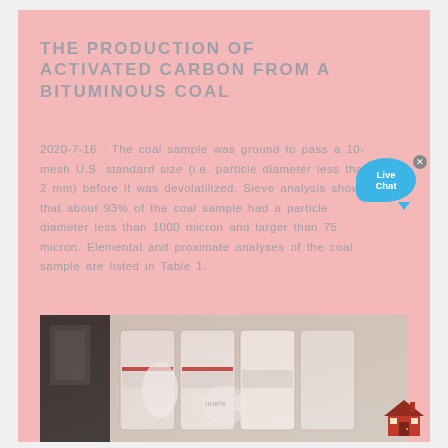THE PRODUCTION OF ACTIVATED CARBON FROM A BITUMINOUS COAL
2020-7-16 · The coal sample was ground to pass a 10-mesh U.S. standard size (i.e. particle diameter less than 2 mm) before it was devolatilized. Sieve analysis showed that about 93% of the coal sample had a particle diameter less than 1000 micron and larger than 75 micron. Elemental and proximate analyses of the coal sample are listed in Table 1.
[Figure (photo): Laboratory equipment photo showing what appears to be white containers or centrifuge with a Miele label visible]